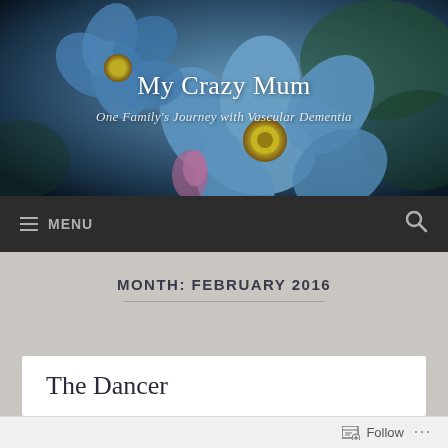[Figure (photo): Blog header image showing blue forget-me-not flowers on a dark blurred background]
My Crazy Mum
One Family's Journey with Vascular Dementia
MENU
MONTH: FEBRUARY 2016
The Dancer